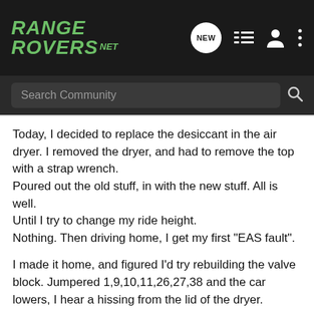RANGE ROVERS .NET
Search Community
Today, I decided to replace the desiccant in the air dryer. I removed the dryer, and had to remove the top with a strap wrench.
Poured out the old stuff, in with the new stuff. All is well.
Until I try to change my ride height.
Nothing. Then driving home, I get my first "EAS fault".

I made it home, and figured I'd try rebuilding the valve block. Jumpered 1,9,10,11,26,27,38 and the car lowers, I hear a hissing from the lid of the dryer.

So I pulled out the dryer, and sure enough, the orange seal is in two pieces. I must have pulled it in half twisting the lid back on.

Anyone know where I can get a new seal for it?